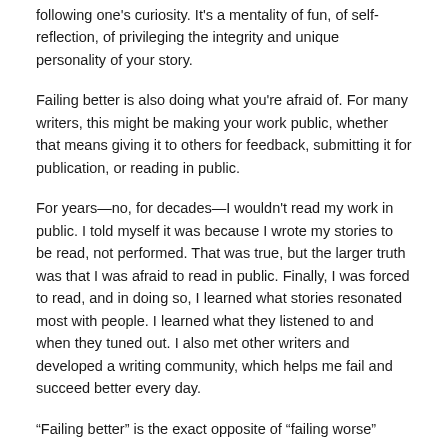following one's curiosity. It's a mentality of fun, of self-reflection, of privileging the integrity and unique personality of your story.
Failing better is also doing what you're afraid of. For many writers, this might be making your work public, whether that means giving it to others for feedback, submitting it for publication, or reading in public.
For years—no, for decades—I wouldn't read my work in public. I told myself it was because I wrote my stories to be read, not performed. That was true, but the larger truth was that I was afraid to read in public. Finally, I was forced to read, and in doing so, I learned what stories resonated most with people. I learned what they listened to and when they tuned out. I also met other writers and developed a writing community, which helps me fail and succeed better every day.
“Failing better” is the exact opposite of “failing worse”